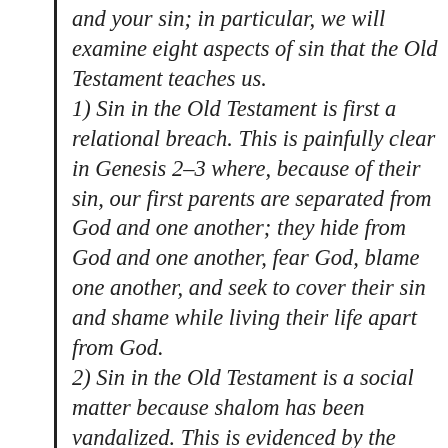and your sin; in particular, we will examine eight aspects of sin that the Old Testament teaches us.
1) Sin in the Old Testament is first a relational breach. This is painfully clear in Genesis 2–3 where, because of their sin, our first parents are separated from God and one another; they hide from God and one another, fear God, blame one another, and seek to cover their sin and shame while living their life apart from God.
2) Sin in the Old Testament is a social matter because shalom has been vandalized. This is evidenced by the litany of murder, perversion, drunkenness, the continual evil that